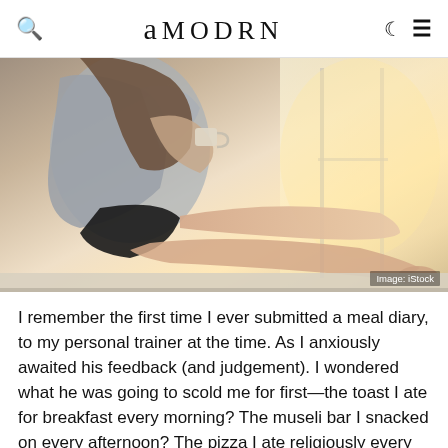amodrn
[Figure (photo): Woman in grey off-shoulder top and black shorts sitting on a windowsill, holding a mug, legs extended, with bright window light behind her. Image credit: iStock.]
Image: iStock
I remember the first time I ever submitted a meal diary, to my personal trainer at the time. As I anxiously awaited his feedback (and judgement). I wondered what he was going to scold me for first—the toast I ate for breakfast every morning? The museli bar I snacked on every afternoon? The pizza I ate religiously every Friday night? But to my surprise